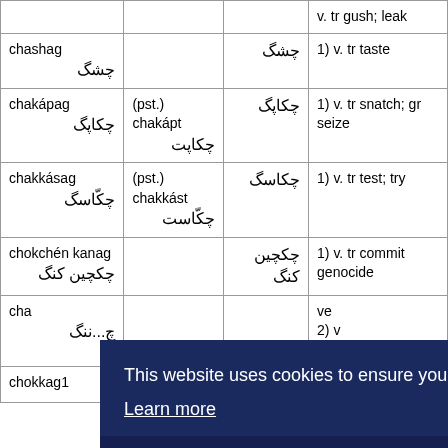| Term | Conjugation | Script | Definition |
| --- | --- | --- | --- |
|  |  |  | v. tr gush; leak |
| chashag
چشگ |  | چشگ | 1) v. tr taste |
| chakápag
چکاپگ | (pst.) chakápt
چکاپت | چکاپگ | 1) v. tr snatch; gr seize |
| chakkásag
چکّاسگ | (pst.) chakkást
چکّاست | چکاسگ | 1) v. tr test; try |
| chokchén kanag
چکچین کنگ |  | چکچین کنگ | 1) v. tr commit genocide |
| cha...
چ...ننگ |  |  | ve
2) v
to |
| chokkag1 | (pst.) | چک | 1) v. tr kiss |
[Figure (screenshot): Cookie consent banner overlay with dark navy background reading 'This website uses cookies to ensure you get the best experience on our website.' with a 'Learn more' underlined link and a 'Got it!' button bar at the bottom.]